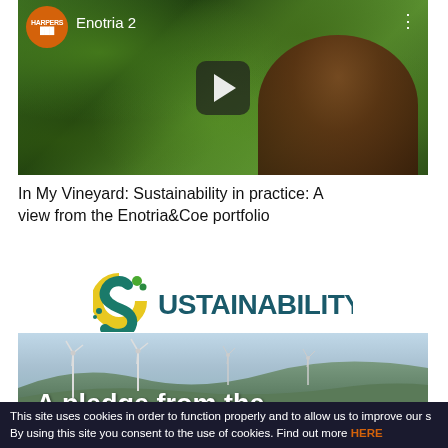[Figure (screenshot): Video thumbnail showing a man in a vineyard/farm setting with green foliage, with a play button overlay. Harpers logo in top left, 'Enotria 2' title text, three dots menu icon.]
In My Vineyard: Sustainability in practice: A view from the Enotria&Coe portfolio
[Figure (screenshot): Sustainability logo (green S with leaves) with the word SUSTAINABILITY in teal/dark teal letters, above a landscape image with wind turbines on rolling hills and partial text 'A pledge from the']
This site uses cookies in order to function properly and to allow us to improve our s By using this site you consent to the use of cookies. Find out more HERE